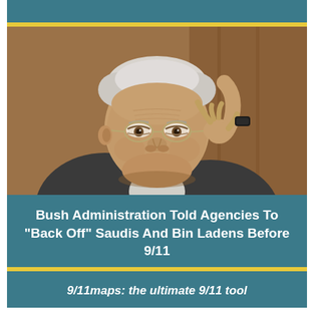[Figure (photo): Elderly white-haired man wearing glasses, hand raised to his temple, wearing a dark suit jacket, seated at what appears to be a hearing or formal setting with wood paneling in background.]
Bush Administration Told Agencies To “Back Off” Saudis And Bin Ladens Before 9/11
9/11maps: the ultimate 9/11 tool